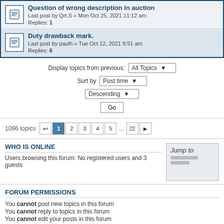Question of wrong description in auction — Last post by Qrt.S « Mon Oct 25, 2021 11:12 am — Replies: 1
Duty drawback mark. — Last post by paulh « Tue Oct 12, 2021 9:51 am — Replies: 6
Display topics from previous: All Topics ▼  Sort by Post time ▼  Descending ▼  Go
1096 topics  1 2 3 4 5 ... 22 >
WHO IS ONLINE
Users browsing this forum: No registered users and 3 guests
FORUM PERMISSIONS
You cannot post new topics in this forum
You cannot reply to topics in this forum
You cannot edit your posts in this forum
You cannot delete your posts in this forum
Main Website ‹ Silver Forum Index    The team  ≡
Powered by phpBB® Forum Software © phpBB Limited SE Square Left by PhpBB3 BBCodes